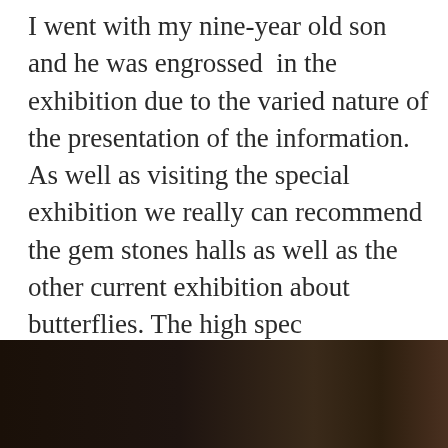I went with my nine-year old son and he was engrossed  in the exhibition due to the varied nature of the presentation of the information. As well as visiting the special exhibition we really can recommend the gem stones halls as well as the other current exhibition about butterflies. The high spec microscope connected to a TV screen to examine butterflies was a bit hit. We are amazed at the fact, under high magnification, how furry butterflies' bodies are and how intricate their beautiful wings are.
[Figure (photo): A dark photograph, mostly very dark brown/black tones, partially visible at the bottom of the page.]